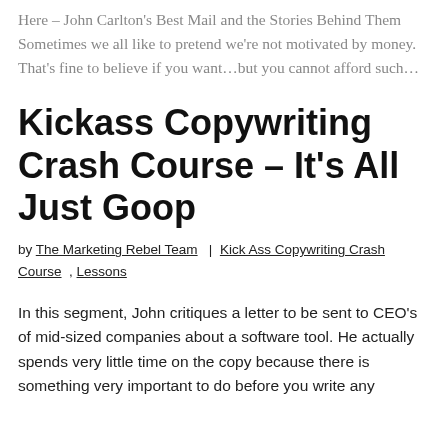Here – John Carlton's Best Mail and the Stories Behind Them Sometimes we all like to pretend we're not motivated by money. That's fine to believe if you want…but you cannot afford such…
Kickass Copywriting Crash Course – It's All Just Goop
by The Marketing Rebel Team | Kick Ass Copywriting Crash Course , Lessons
In this segment, John critiques a letter to be sent to CEO's of mid-sized companies about a software tool. He actually spends very little time on the copy because there is something very important to do before you write any